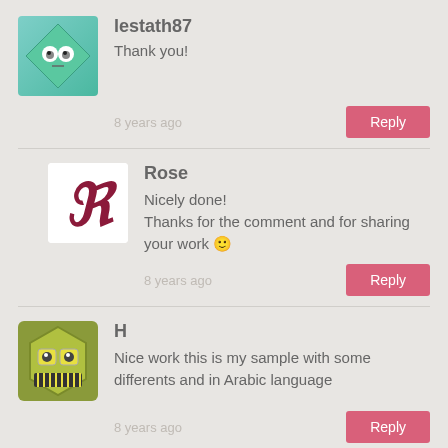[Figure (illustration): Avatar for lestath87: green diamond shape with cartoon eyes on light blue/green background]
lestath87
Thank you!
8 years ago
Reply
[Figure (illustration): Avatar for Rose: decorative letter R in dark red cursive on white background]
Rose
Nicely done!
Thanks for the comment and for sharing your work 🙂
8 years ago
Reply
[Figure (illustration): Avatar for H: cartoon monster face with teeth on olive/green background]
H
Nice work this is my sample with some differents and in Arabic language
8 years ago
Reply
[Figure (illustration): Avatar for Rose: decorative letter R in dark red cursive on white background (partially visible)]
Rose